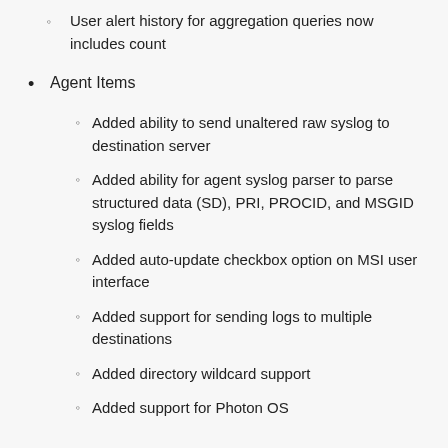User alert history for aggregation queries now includes count
Agent Items
Added ability to send unaltered raw syslog to destination server
Added ability for agent syslog parser to parse structured data (SD), PRI, PROCID, and MSGID syslog fields
Added auto-update checkbox option on MSI user interface
Added support for sending logs to multiple destinations
Added directory wildcard support
Added support for Photon OS